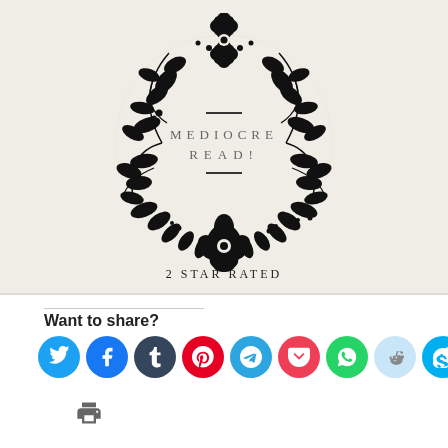[Figure (illustration): Circular floral wreath made of black botanical leaves and flowers with text 'MEDIOCRE READ!' in the center and '2 STAR RATED' below]
Want to share?
[Figure (infographic): Row of social media sharing icon buttons: Twitter (blue), Facebook (blue), Tumblr (dark blue), Pinterest (red), Telegram (blue), Pocket (red), WhatsApp (green), Reddit (light blue), Skype (blue), Email (grey), and a print icon below]